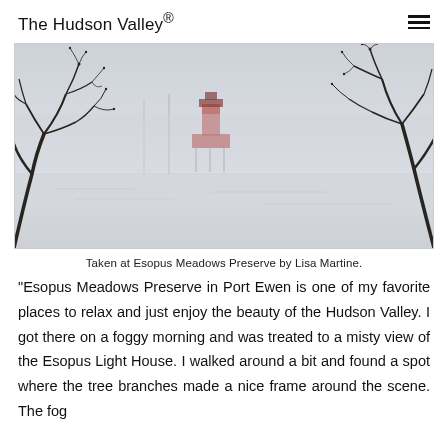The Hudson Valley®
[Figure (photo): Foggy winter scene at Esopus Meadows Preserve showing a lighthouse in the mist over water, framed by bare tree branches in the foreground.]
Taken at Esopus Meadows Preserve by Lisa Martine.
"Esopus Meadows Preserve in Port Ewen is one of my favorite places to relax and just enjoy the beauty of the Hudson Valley. I got there on a foggy morning and was treated to a misty view of the Esopus Light House. I walked around a bit and found a spot where the tree branches made a nice frame around the scene. The fog